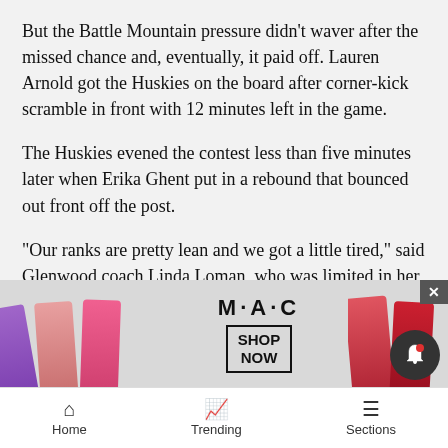But the Battle Mountain pressure didn't waver after the missed chance and, eventually, it paid off. Lauren Arnold got the Huskies on the board after corner-kick scramble in front with 12 minutes left in the game.
The Huskies evened the contest less than five minutes later when Erika Ghent put in a rebound that bounced out front off the post.
“Our ranks are pretty lean and we got a little tired,” said Glenwood coach Linda Loman, who was limited in her eligible personnel due to the high school 30 halves rule.
Both teams had opportunities in the overtime periods. “Glenw... and th... cond ...
[Figure (advertisement): MAC cosmetics advertisement showing lipsticks with 'SHOP NOW' button]
Home | Trending | Sections